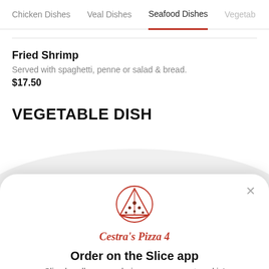Chicken Dishes  Veal Dishes  Seafood Dishes  Vegetab
Fried Shrimp
Served with spaghetti, penne or salad & bread.
$17.50
VEGETABLE DISH
[Figure (logo): Cestra's Pizza 4 pizza restaurant logo — a line-drawn pizza slice illustration in red]
Cestra's Pizza 4
Order on the Slice app
Slice handles our ordering so we can get cookin'
5% off now!
Open App